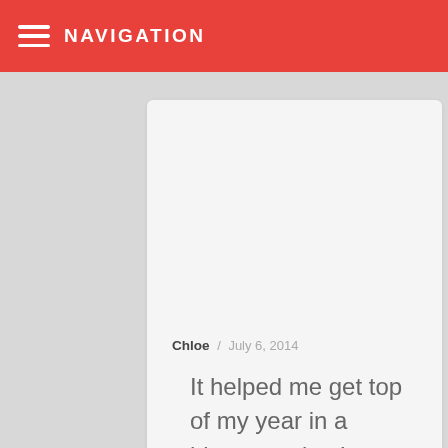NAVIGATION
Chloe / July 6, 2014
It helped me get top of my year in a history project! Thanks so much I've been looking for an amazing website like this for ages!!!